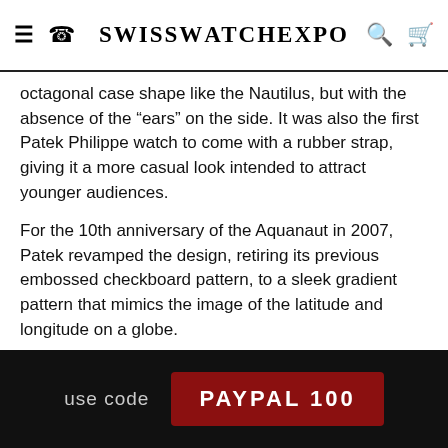SwissWatchExpo
octagonal case shape like the Nautilus, but with the absence of the “ears” on the side. It was also the first Patek Philippe watch to come with a rubber strap, giving it a more casual look intended to attract younger audiences.
For the 10th anniversary of the Aquanaut in 2007, Patek revamped the design, retiring its previous embossed checkboard pattern, to a sleek gradient pattern that mimics the image of the latitude and longitude on a globe.
In its infancy, the Aquanaut collection was predominately home to stainless steel models with simple time and date
[Figure (infographic): Promotional banner: BUY WITH PayPal logo GET $100 OFF.]
use code PAYPAL100